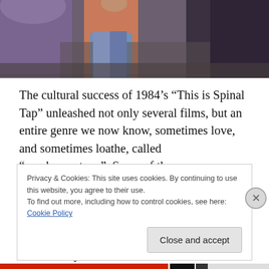[Figure (photo): A partial photo showing figures/people at the top of the page, cropped — appears to be a movie still with people standing, partial bodies visible against a dark background.]
The cultural success of 1984's “This is Spinal Tap” unleashed not only several films, but an entire genre we now know, sometimes love, and sometimes loathe, called “mockumentary.”  Some of the mockumentaries that have followed in “This is Spinal Tap”’s wake have been good, some bad.  “Fear of a Black Hat” is on the good end of things.  Granted, it’s not a perfect movie and it’s very
Privacy & Cookies: This site uses cookies. By continuing to use this website, you agree to their use.
To find out more, including how to control cookies, see here: Cookie Policy